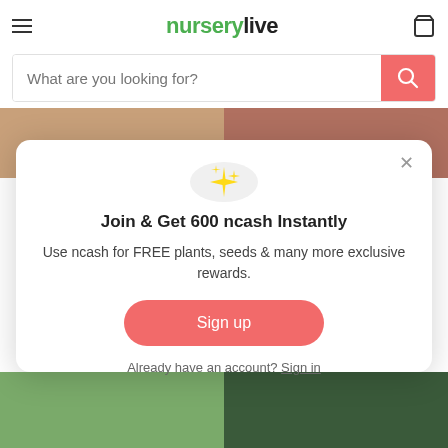nurserylive
[Figure (screenshot): Search bar with placeholder 'What are you looking for?' and a coral/red search button with magnifier icon]
[Figure (screenshot): Modal popup with sparkle emoji icon, title 'Join & Get 600 ncash Instantly', body text, Sign up button, and sign in link]
Join & Get 600 ncash Instantly
Use ncash for FREE plants, seeds & many more exclusive rewards.
Already have an account? Sign in